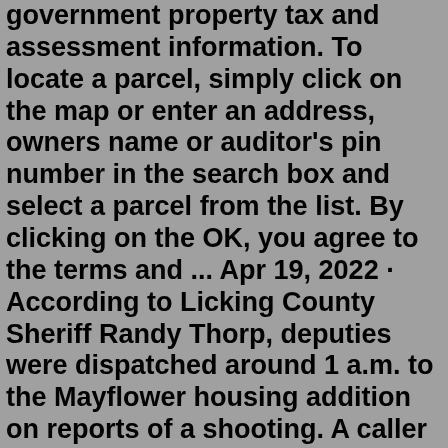government property tax and assessment information. To locate a parcel, simply click on the map or enter an address, owners name or auditor's pin number in the search box and select a parcel from the list. By clicking on the OK, you agree to the terms and ... Apr 19, 2022 · According to Licking County Sheriff Randy Thorp, deputies were dispatched around 1 a.m. to the Mayflower housing addition on reports of a shooting. A caller said a woman had come to her residence ... Licking County Sheriff's Office offers Licking County's 60K residents ink fingerprint card services, located in the City of Newark. This location supplements our Online Live Scan Background Check service network in the State of Ohio. 10TV - WBNS. June 3, 2013 · Columbus, OH ·. BREAKING NEWS: The Licking County Sheriff's SWAT Team is on scene of a home on Reussner Road SW Near Pataskala. Neighbors tell us they have been told to stay inside. Licking County Sheriff's Office offers Licking County's 60K residents ink fingerprint card services, located in the City of Newark. This location